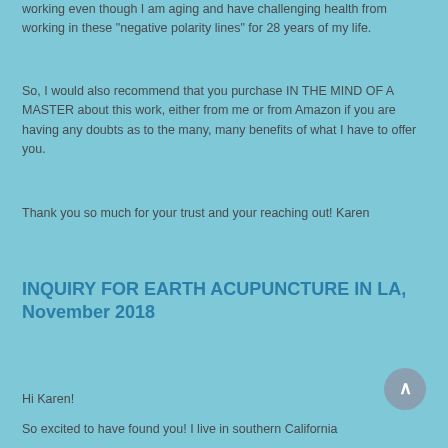working even though I am aging and have challenging health from working in these “negative polarity lines” for 28 years of my life.
So, I would also recommend that you purchase IN THE MIND OF A MASTER about this work, either from me or from Amazon if you are having any doubts as to the many, many benefits of what I have to offer you.
Thank you so much for your trust and your reaching out!  Karen
INQUIRY FOR EARTH ACUPUNCTURE IN LA, November 2018
Hi Karen!
So excited to have found you! I live in southern California...